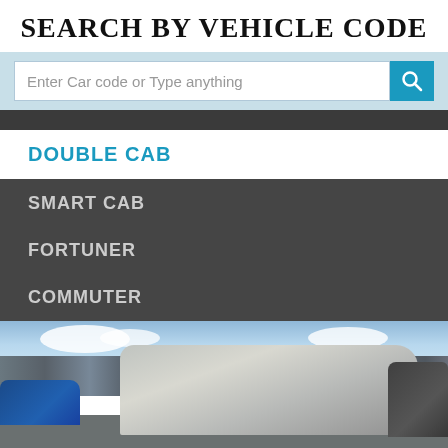SEARCH BY VEHICLE CODE
Enter Car code or Type anything
DOUBLE CAB
SMART CAB
FORTUNER
COMMUTER
[Figure (photo): Outdoor car lot with multiple pickup trucks and SUVs parked, blue sky with clouds in background, buildings visible]